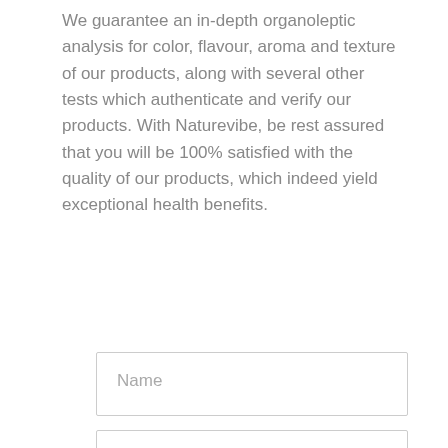We guarantee an in-depth organoleptic analysis for color, flavour, aroma and texture of our products, along with several other tests which authenticate and verify our products. With Naturevibe, be rest assured that you will be 100% satisfied with the quality of our products, which indeed yield exceptional health benefits.
[Figure (other): Contact form with four input fields: Name, Email, Phone Number, and Message]